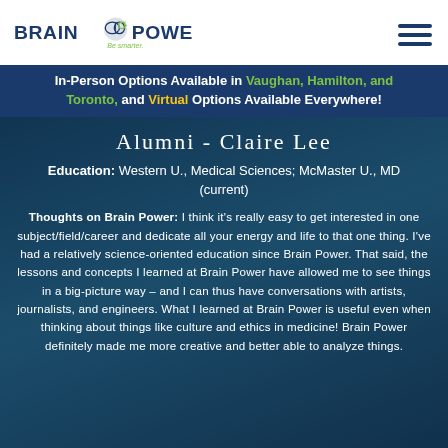[Figure (logo): Brain Power logo with brain icon and gear, text 'BRAIN POWER', tagline 'Be smarter.']
In-Person Options Available in Vaughan, Hamilton, and Toronto, and Virtual Options Available Everywhere!
Alumni - Claire Lee
Education: Western U., Medical Sciences; McMaster U., MD (current)
Thoughts on Brain Power: I think it’s really easy to get interested in one subject/field/career and dedicate all your energy and life to that one thing. I’ve had a relatively science-oriented education since Brain Power. That said, the lessons and concepts I learned at Brain Power have allowed me to see things in a big-picture way – and I can thus have conversations with artists, journalists, and engineers. What I learned at Brain Power is useful even when thinking about things like culture and ethics in medicine! Brain Power definitely made me more creative and better able to analyze things.